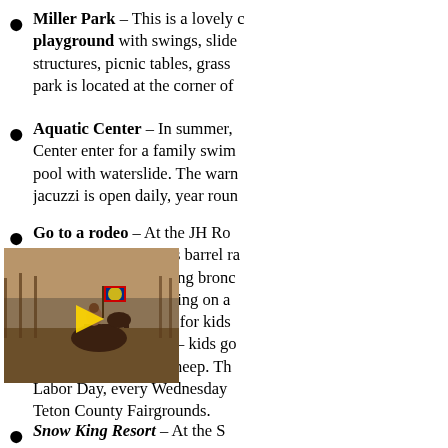Miller Park – This is a lovely community playground with swings, slides, climbing structures, picnic tables, grass areas. The park is located at the corner of...
Aquatic Center – In summer, the Aquatic Center enter for a family swim in an outdoor pool with waterslide. The warm water jacuzzi is open daily, year round...
[Figure (photo): A rodeo scene showing a horse and rider with a flag, with a yellow play button overlay indicating a video thumbnail. The Wyoming state flag is visible.]
Go to a rodeo – At the JH Rodeo, cowboys and cowgirls barrel race, riding bulls and bucking bronc... here, four year old riding on a... There's even an event for kids the "sheep scramble" – kids go... run around after the sheep. Th... Labor Day, every Wednesday... Teton County Fairgrounds.
Snow King Resort – At the S...